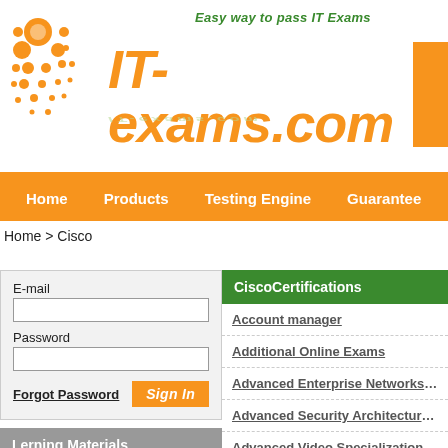IT-exams.com — Easy way to pass IT Exams
Home | Products | Testing Engine | Guarantee
Home > Cisco
E-mail
Password
Forgot Password
Sign In
Lerning Materials
ABA
ACAMS
ACFE
ACI
CiscoCertifications
Account manager
Additional Online Exams
Advanced Enterprise Networks Architecture
Advanced Security Architecture Specialization
Advanced Video Specialization
Advanced Routing and Switching
Business Value Practitioner